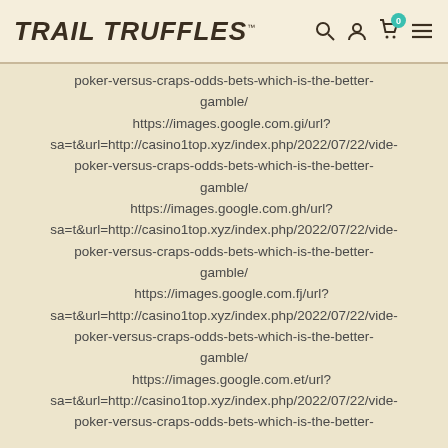TRAIL TRUFFLES™
poker-versus-craps-odds-bets-which-is-the-better-gamble/
https://images.google.com.gi/url?
sa=t&url=http://casino1top.xyz/index.php/2022/07/22/video-poker-versus-craps-odds-bets-which-is-the-better-gamble/
https://images.google.com.gh/url?
sa=t&url=http://casino1top.xyz/index.php/2022/07/22/video-poker-versus-craps-odds-bets-which-is-the-better-gamble/
https://images.google.com.fj/url?
sa=t&url=http://casino1top.xyz/index.php/2022/07/22/video-poker-versus-craps-odds-bets-which-is-the-better-gamble/
https://images.google.com.et/url?
sa=t&url=http://casino1top.xyz/index.php/2022/07/22/vide-poker-versus-craps-odds-bets-which-is-the-better-